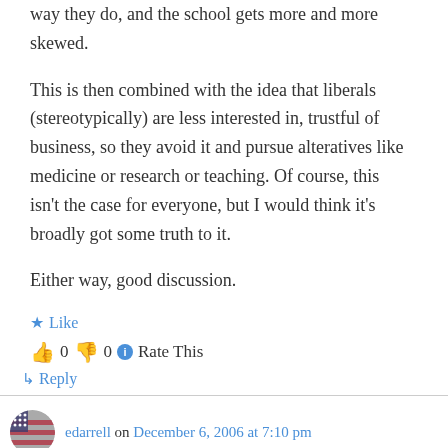way they do, and the school gets more and more skewed.
This is then combined with the idea that liberals (stereotypically) are less interested in, trustful of business, so they avoid it and pursue alteratives like medicine or research or teaching. Of course, this isn't the case for everyone, but I would think it's broadly got some truth to it.
Either way, good discussion.
★ Like
👍 0 👎 0 ℹ Rate This
↳ Reply
edarrell on December 6, 2006 at 7:10 pm